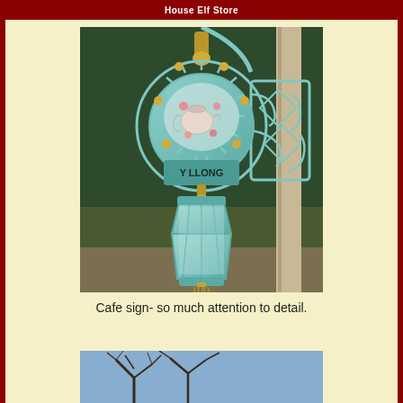House Elf Store
[Figure (photo): Ornate teal/mint colored wrought iron cafe sign with decorative scrollwork, featuring a painted panel with teapot and flowers, and a matching street lantern hanging below. Text on sign reads 'Y LLONG'. Dark green trees visible in background.]
Cafe sign- so much attention to detail.
[Figure (photo): Partial view of another outdoor scene, cropped at bottom of page, showing blue sky and bare tree branches.]